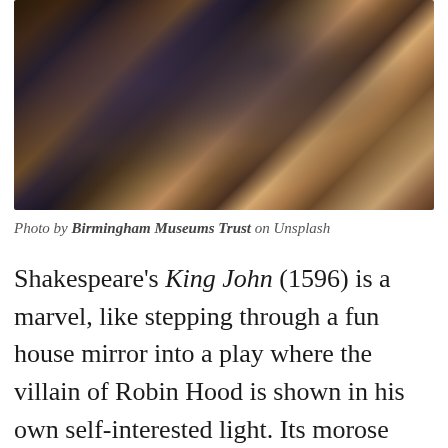[Figure (illustration): A dramatic oil painting depicting a chaotic battle or mythological scene with dark stormy atmosphere, figures in conflict, warm earthy tones with blues and grays.]
Photo by Birmingham Museums Trust on Unsplash
Shakespeare's King John (1596) is a marvel, like stepping through a fun house mirror into a play where the villain of Robin Hood is shown in his own self-interested light. Its morose politics and lack of a clear hero or antagonist makes it a difficult, post-modern piece in many ways, and indeed, it fell out of favor since 1800, being rarely put on for almost two hundred